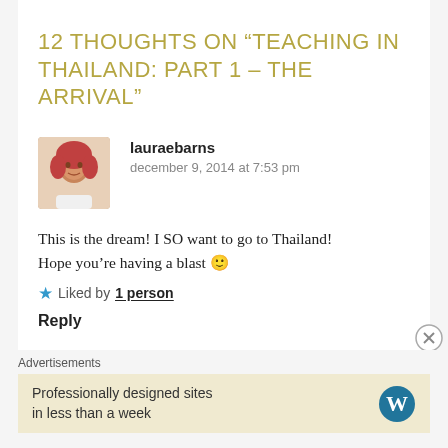12 THOUGHTS ON “TEACHING IN THAILAND: PART 1 – THE ARRIVAL”
lauraebarns
december 9, 2014 at 7:53 pm
This is the dream! I SO want to go to Thailand! Hope you’re having a blast 🙂
★ Liked by 1 person
Reply
Advertisements
Professionally designed sites in less than a week